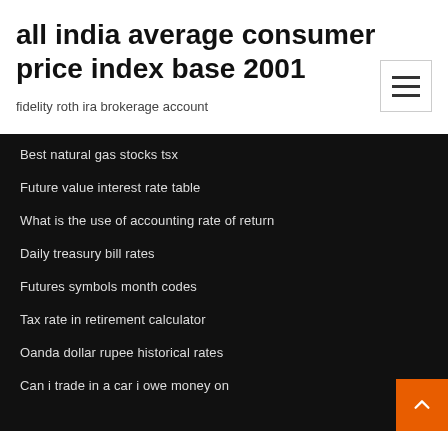all india average consumer price index base 2001
fidelity roth ira brokerage account
Best natural gas stocks tsx
Future value interest rate table
What is the use of accounting rate of return
Daily treasury bill rates
Futures symbols month codes
Tax rate in retirement calculator
Oanda dollar rupee historical rates
Can i trade in a car i owe money on